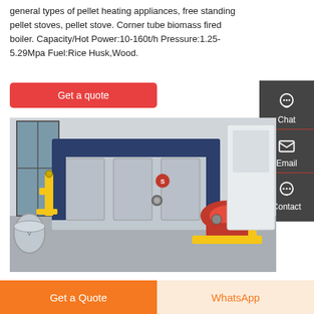general types of pellet heating appliances, free standing pellet stoves, pellet stove. Corner tube biomass fired boiler. Capacity/Hot Power:10-160t/h Pressure:1.25-5.29Mpa Fuel:Rice Husk,Wood.
Get a quote
[Figure (photo): Industrial biomass/gas fired boiler in a factory setting, showing a large rectangular steel boiler with blue and silver casing, a red burner assembly on the right side, and yellow piping visible on the left. Background shows concrete walls and cylindrical tanks.]
Chat
Email
Contact
Get a Quote
WhatsApp